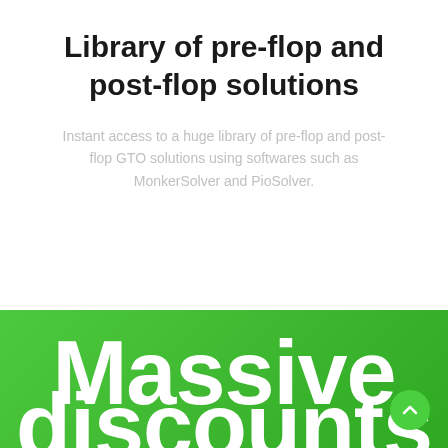Library of pre-flop and post-flop solutions
Instant access to a huge library of pre-flop and post-flop GTO solutions using softwares such as MonkerSolver and PioSolver.
Massive